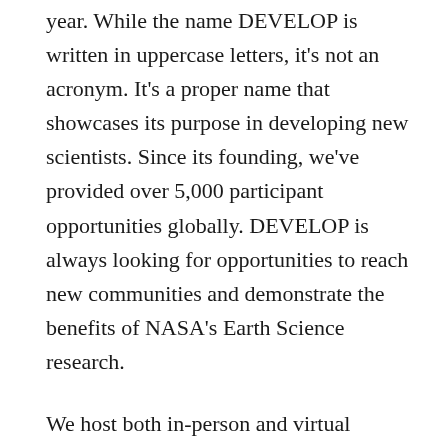year. While the name DEVELOP is written in uppercase letters, it's not an acronym. It's a proper name that showcases its purpose in developing new scientists. Since its founding, we've provided over 5,000 participant opportunities globally. DEVELOP is always looking for opportunities to reach new communities and demonstrate the benefits of NASA's Earth Science research.
We host both in-person and virtual offices. The National Program Office (NPO), DEVELOP's Headquarters, resides at NASA Langley Research Center and oversees activity across our network of offices. A DEVELOP Fellow leads each office. Fellows are early career professionals who manage the projects and participants for their office. They